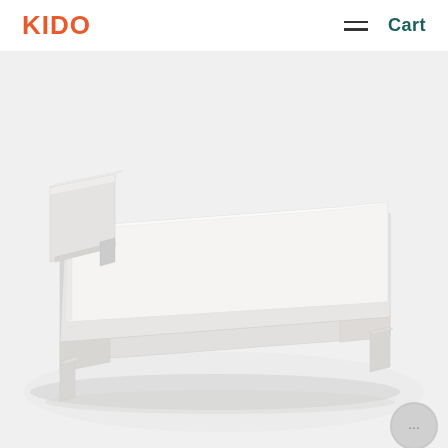KIDO  ≡  Cart
[Figure (photo): White minimalist children's bed with headboard and low frame, shown in a white product photography setting. The bed has a simple rectangular headboard, clean white finish, and low-profile legs.]